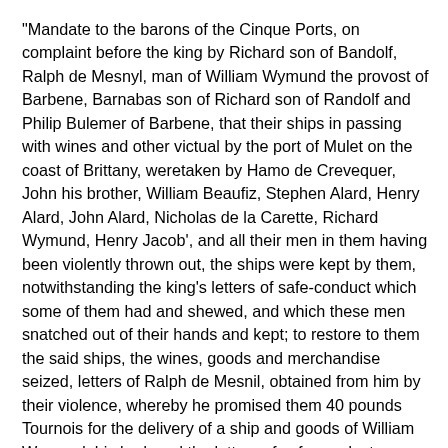"Mandate to the barons of the Cinque Ports, on complaint before the king by Richard son of Bandolf, Ralph de Mesnyl, man of William Wymund the provost of Barbene, Barnabas son of Richard son of Randolf and Philip Bulemer of Barbene, that their ships in passing with wines and other victual by the port of Mulet on the coast of Brittany, weretaken by Hamo de Crevequer, John his brother, William Beaufiz, Stephen Alard, Henry Alard, John Alard, Nicholas de la Carette, Richard Wymund, Henry Jacob', and all their men in them having been violently thrown out, the ships were kept by them, notwithstanding the king's letters of safe-conduct which some of them had and shewed, and which these men snatched out of their hands and kept; to restore to them the said ships, the wines, goods and merchandise seized, letters of Ralph de Mesnil, obtained from him by their violence, whereby he promised them 40 pounds Tournois for the delivery of a ship and goods of William Wymund, his lord, and the letters of safe-conduct whether of men of the king's